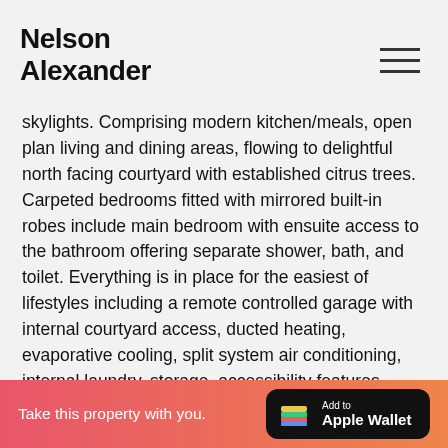Nelson Alexander
skylights. Comprising modern kitchen/meals, open plan living and dining areas, flowing to delightful north facing courtyard with established citrus trees. Carpeted bedrooms fitted with mirrored built-in robes include main bedroom with ensuite access to the bathroom offering separate shower, bath, and toilet. Everything is in place for the easiest of lifestyles including a remote controlled garage with internal courtyard access, ducted heating, evaporative cooling, split system air conditioning, internal laundry, storage, accessibility features, dishwasher. Walk to Keilor Road trams, shops, cafes, and restaurants, with easy freeway access.
Property Sold
Take this property with you. Add to Apple Wallet